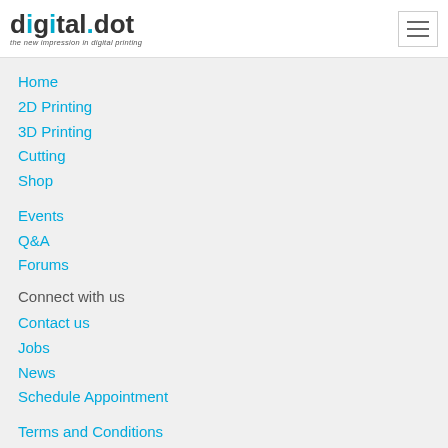digital.dot — the new impression in digital printing
Home
2D Printing
3D Printing
Cutting
Shop
Events
Q&A
Forums
Connect with us
Contact us
Jobs
News
Schedule Appointment
Terms and Conditions
Privacystatement
+32 2 793 04 35